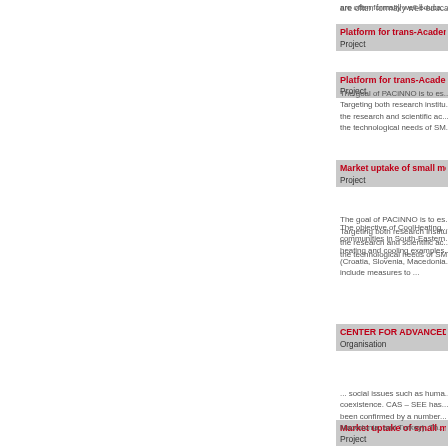are often formally well-educated...
Platform for trans-Academ...
Project
The goal of PACiNNO is to es... Targeting both research institu... the research and scientific ac... the technological needs of SM...
Market uptake of small mo...
Project
The objective of CoolHeating... communities in South-Eastern... heating and cooling examples... (Croatia, Slovenia, Macedonia... include measures to ...
CENTER FOR ADVANCED...
Organisation
... social issues such as huma... coexistence. CAS – SEE has... been confirmed by a number... Macedonia, and Turkey). Th...